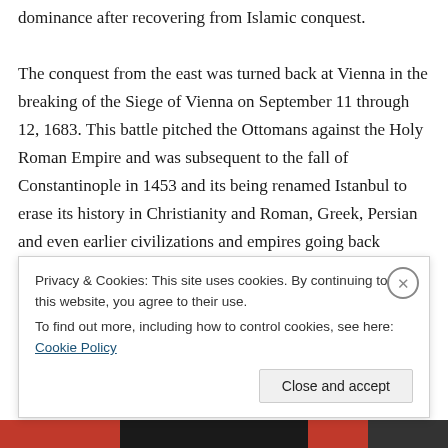dominance after recovering from Islamic conquest.
The conquest from the east was turned back at Vienna in the breaking of the Siege of Vienna on September 11 through 12, 1683. This battle pitched the Ottomans against the Holy Roman Empire and was subsequent to the fall of Constantinople in 1453 and its being renamed Istanbul to erase its history in Christianity and Roman, Greek, Persian and even earlier civilizations and empires going back originally in the first known empire of the Hittites. The
Privacy & Cookies: This site uses cookies. By continuing to use this website, you agree to their use.
To find out more, including how to control cookies, see here: Cookie Policy